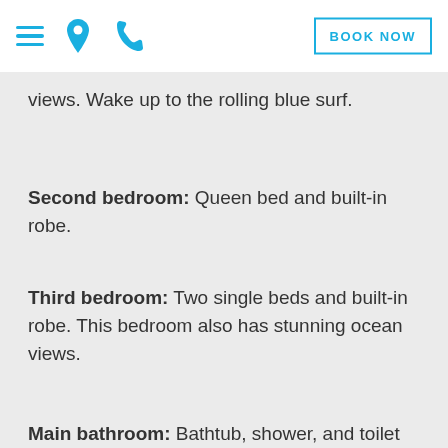Navigation icons and BOOK NOW button
views. Wake up to the rolling blue surf.
Second bedroom: Queen bed and built-in robe.
Third bedroom: Two single beds and built-in robe. This bedroom also has stunning ocean views.
Main bathroom: Bathtub, shower, and toilet and hair dryer.